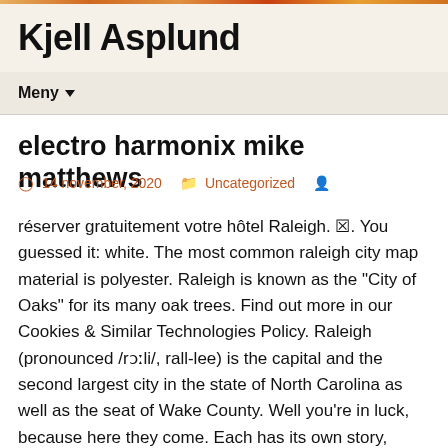Kjell Asplund
electro harmonix mike matthews
14 november, 2020   Uncategorized
réserver gratuitement votre hôtel Raleigh. ☒. You guessed it: white. The most common raleigh city map material is polyester. Raleigh is known as the "City of Oaks" for its many oak trees. Find out more in our Cookies & Similar Technologies Policy. Raleigh (pronounced /rɔːli/, rall-lee) is the capital and the second largest city in the state of North Carolina as well as the seat of Wake County. Well you're in luck, because here they come. Each has its own story, charming visitors with historic downtowns, tree-lined main streets, concerts in the park, golf course communities and